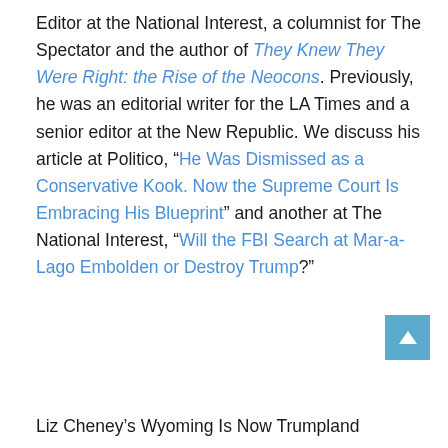Editor at the National Interest, a columnist for The Spectator and the author of They Knew They Were Right: the Rise of the Neocons. Previously, he was an editorial writer for the LA Times and a senior editor at the New Republic. We discuss his article at Politico, “He Was Dismissed as a Conservative Kook. Now the Supreme Court Is Embracing His Blueprint” and another at The National Interest, “Will the FBI Search at Mar-a-Lago Embolden or Destroy Trump?”
Liz Cheney's Wyoming Is Now Trumpland